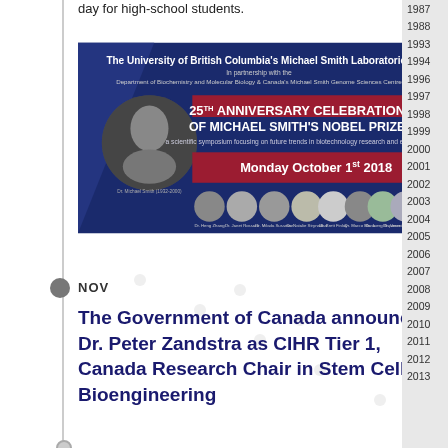day for high-school students.
[Figure (illustration): Event banner for the 25th Anniversary Celebration of Michael Smith's Nobel Prize at UBC Michael Smith Laboratories, Monday October 1st 2018, showing speaker headshots.]
NOV
The Government of Canada announced Dr. Peter Zandstra as CIHR Tier 1, Canada Research Chair in Stem Cell Bioengineering